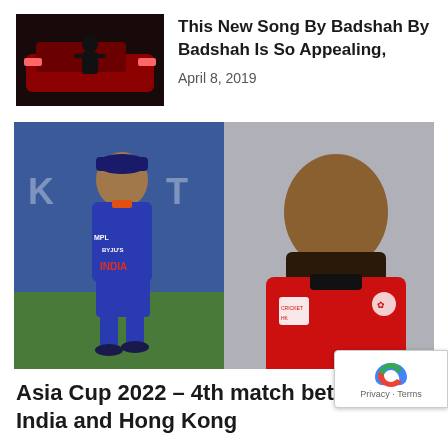[Figure (photo): Thumbnail image of Badshah music video with dark red car and silhouette figure]
This New Song By Badshah By Badshah Is So Appealing,
April 8, 2019
[Figure (photo): Composite photo: left side shows Indian cricket player Rohit Sharma in blue INDIA jersey (BYJU'S sponsor) on cricket field; right side shows a Hong Kong cricket player in red jersey]
Asia Cup 2022 – 4th match between India and Hong Kong